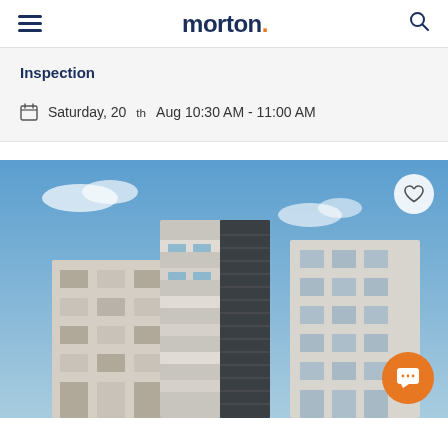morton.
Inspection
Saturday, 20th Aug 10:30 AM - 11:00 AM
[Figure (photo): Exterior photo of a modern multi-storey apartment building with balconies and dark louvred screens against a blue sky. A heart/favourite button is visible top-right. An orange chat button is visible bottom-right.]